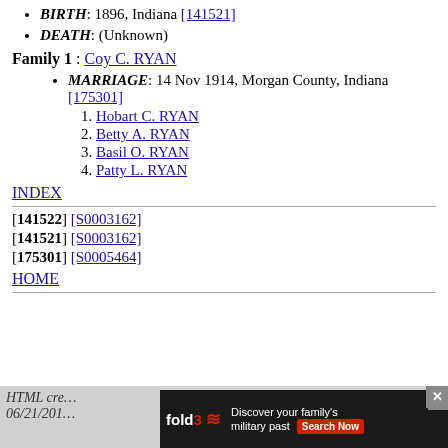BIRTH: 1896, Indiana [141521]
DEATH: (Unknown)
Family 1 : Coy C. RYAN
MARRIAGE: 14 Nov 1914, Morgan County, Indiana [175301]
1. Hobart C. RYAN
2. Betty A. RYAN
3. Basil O. RYAN
4. Patty L. RYAN
INDEX
[141522] [S0003162]
[141521] [S0003162]
[175301] [S0005464]
HOME
HTML created on 06/21/201...